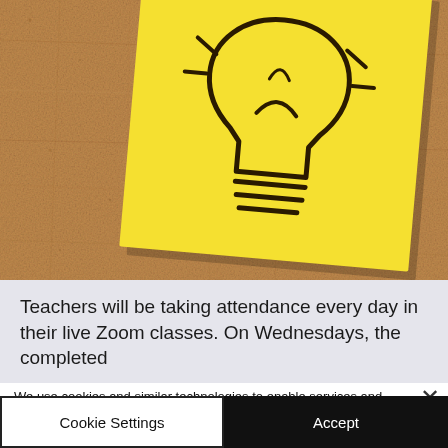[Figure (photo): A cork bulletin board with a yellow sticky note displaying a hand-drawn lightbulb icon. The sticky note is tilted slightly to the right on the brown cork background.]
Teachers will be taking attendance every day in their live Zoom classes. On Wednesdays, the completed
We use cookies and similar technologies to enable services and functionality on our site and to understand your interaction with our service. By clicking on accept, you agree to our use of such technologies for analytics.
Cookie Settings
Accept